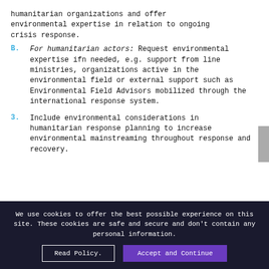humanitarian organizations and offer environmental expertise in relation to ongoing crisis response.
B. For humanitarian actors: Request environmental expertise ifn needed, e.g. support from line ministries, organizations active in the environmental field or external support such as Environmental Field Advisors mobilized through the international response system.
3. Include environmental considerations in humanitarian response planning to increase environmental mainstreaming throughout response and recovery.
We use cookies to offer the best possible experience on this site. These cookies are safe and secure and don't contain any personal information.